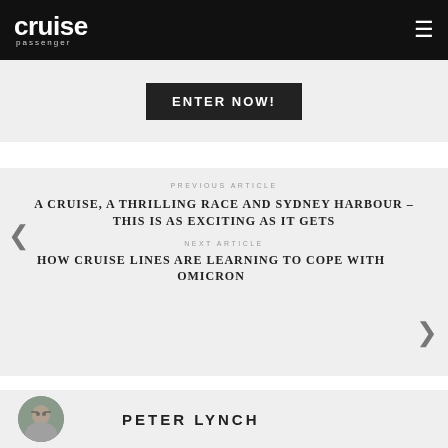cruise passenger
ENTER NOW!
PREVIOUS ARTICLE
A CRUISE, A THRILLING RACE AND SYDNEY HARBOUR – THIS IS AS EXCITING AS IT GETS
NEXT ARTICLE
HOW CRUISE LINES ARE LEARNING TO COPE WITH OMICRON
PETER LYNCH